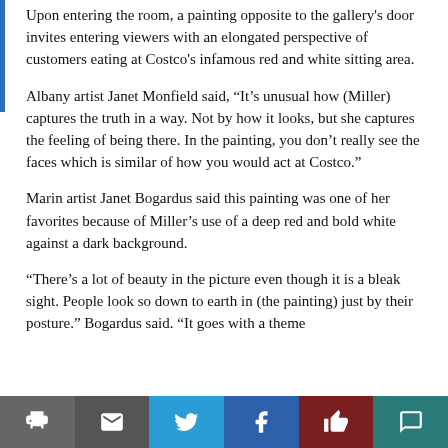Upon entering the room, a painting opposite to the gallery's door invites entering viewers with an elongated perspective of customers eating at Costco's infamous red and white sitting area.
Albany artist Janet Monfield said, “It’s unusual how (Miller) captures the truth in a way. Not by how it looks, but she captures the feeling of being there. In the painting, you don’t really see the faces which is similar of how you would act at Costco.”
Marin artist Janet Bogardus said this painting was one of her favorites because of Miller’s use of a deep red and bold white against a dark background.
“There’s a lot of beauty in the picture even though it is a bleak sight. People look so down to earth in (the painting) just by their posture.” Bogardus said. “It goes with a theme
[Figure (other): Social sharing footer bar with icons for print, email, Twitter, Facebook, like, and comment]